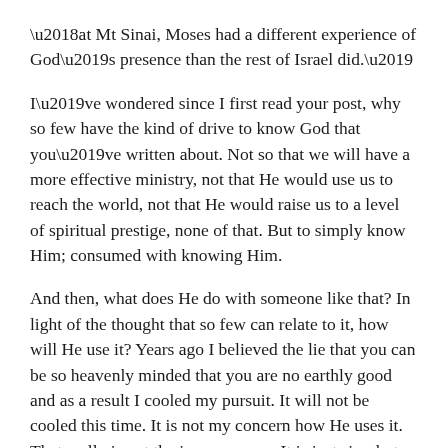‘at Mt Sinai, Moses had a different experience of God’s presence than the rest of Israel did.’
I’ve wondered since I first read your post, why so few have the kind of drive to know God that you’ve written about. Not so that we will have a more effective ministry, not that He would use us to reach the world, not that He would raise us to a level of spiritual prestige, none of that. But to simply know Him; consumed with knowing Him.
And then, what does He do with someone like that? In light of the thought that so few can relate to it, how will He use it? Years ago I believed the lie that you can be so heavenly minded that you are no earthly good and as a result I cooled my pursuit. It will not be cooled this time. It is not my concern how He uses it. That really is not the issue anyway. It is just simply to be so close, so full of Him that if He does